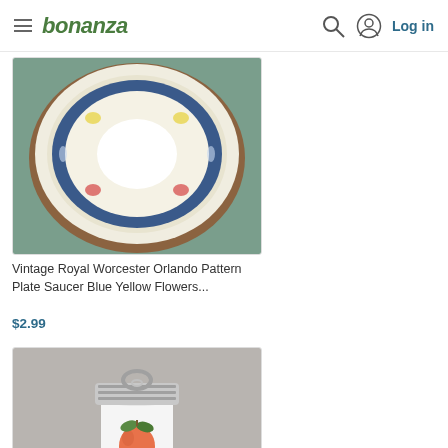bonanza | Log in
[Figure (photo): Vintage Royal Worcester Orlando Pattern plate saucer with blue band and yellow flower decoration, viewed from above on a green surface]
Vintage Royal Worcester Orlando Pattern Plate Saucer Blue Yellow Flowers...
$2.99
[Figure (photo): White ceramic condiment jar or egg coddler with silver/chrome lid and ring handle, decorated with a painted peach/apple with green leaves]